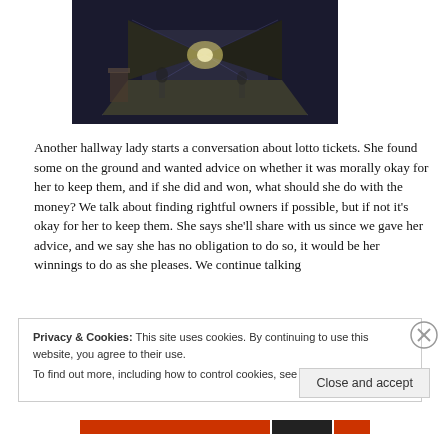[Figure (photo): Indoor hallway or corridor scene, dimly lit, with people and shelves or tables visible in perspective down the hall]
Another hallway lady starts a conversation about lotto tickets. She found some on the ground and wanted advice on whether it was morally okay for her to keep them, and if she did and won, what should she do with the money? We talk about finding rightful owners if possible, but if not it's okay for her to keep them. She says she'll share with us since we gave her advice, and we say she has no obligation to do so, it would be her winnings to do as she pleases. We continue talking
Privacy & Cookies: This site uses cookies. By continuing to use this website, you agree to their use.
To find out more, including how to control cookies, see here: Cookie Policy
Close and accept